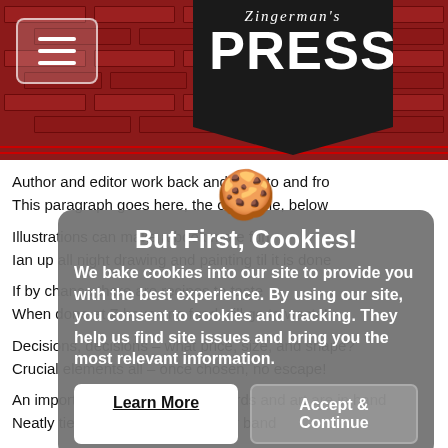[Figure (screenshot): Zingerman's Press website header with brick background and logo banner]
Author and editor work back and forth to and fro
This paragraph goes here, the other one, below
Illustrations can make a book more fun
Ian up all night drawing and painting til it is done
If by chance there are recipes to taste
When done at Z house no food will go to waste!
Decisions, decisions – what price, size, and shape?
Crucial elements all – once chosen, no escape!
[Figure (screenshot): Cookie consent popup overlay with title 'But First, Cookies!', body text about cookie usage, and Learn More / Accept & Continue buttons]
An important moment – all the words and art are in hand
Neatly tied with a bow, or a rubber band
Next comes the text design, create sample pages
Pass them around, get feedback, improvements made in stages
On to the layout, of frontmatter, text, and recipes